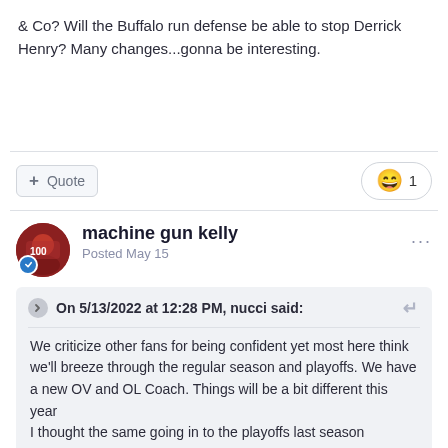& Co? Will the Buffalo run defense be able to stop Derrick Henry? Many changes...gonna be interesting.
Quote
1
machine gun kelly
Posted May 15
On 5/13/2022 at 12:28 PM, nucci said:
We criticize other fans for being confident yet most here think we'll breeze through the regular season and playoffs. We have a new OV and OL Coach. Things will be a bit different this year
I thought the same going in to the playoffs last season